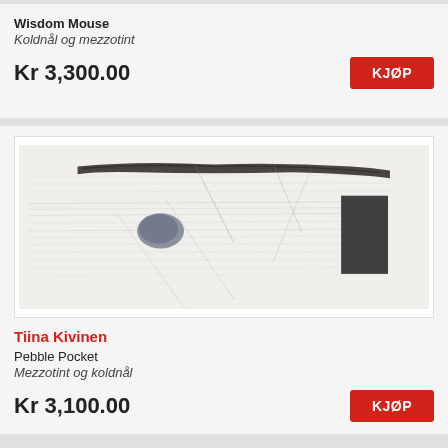Wisdom Mouse
Koldnål og mezzotint
Kr 3,300.00
KJØP
[Figure (illustration): Abstract etching artwork 'Pebble Pocket' by Tiina Kivinen — shows a landscape with horizontal scratched lines, a dark horizontal band at the top, a small dark grey organic shape on the left-center, and a large dark rectangle on the right side, rendered in mezzotint and drypoint on a light grey/white background.]
Tiina Kivinen
Pebble Pocket
Mezzotint og koldnål
Kr 3,100.00
KJØP